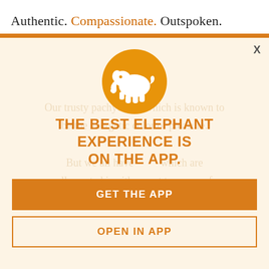Authentic. Compassionate. Outspoken.
[Figure (logo): Orange circle with white elephant silhouette icon]
THE BEST ELEPHANT EXPERIENCE IS ON THE APP.
Enjoy a daily moment of mindfulness in the midst of this busy life. It's free.
GET THE APP
OPEN IN APP